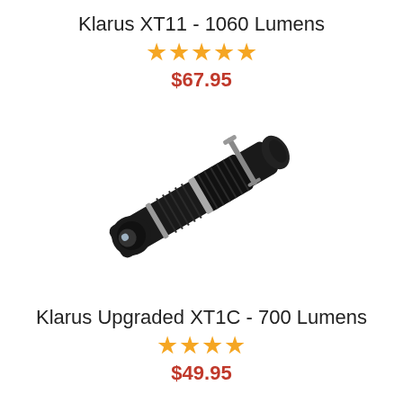Klarus XT11 - 1060 Lumens
★★★★★
$67.95
[Figure (photo): Photo of a Klarus XT11 tactical flashlight, black with silver accents and a metal clip, shown at a diagonal angle against a white background.]
Klarus Upgraded XT1C - 700 Lumens
★★★★
$49.95